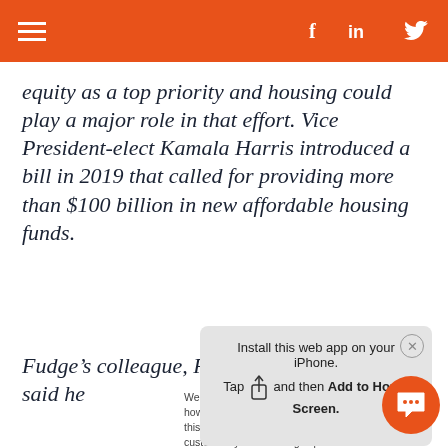Navigation bar with hamburger menu and social icons (Facebook, LinkedIn, Twitter)
equity as a top priority and housing could play a major role in that effort. Vice President-elect Kamala Harris introduced a bill in 2019 that called for providing more than $100 billion in new affordable housing funds.
Fudge’s colleague, Rep. Tim Ryan, D- Ohio, said he
We use cookies to collect information about how you interact with our website. We use this information in order to improve and customize your browsing experience and for analytics and metrics about our visitors both on this website and other media. To find out more about the cookies we use, see our Privacy Policy.

If you decline, your information won’t be tracked
Install this web app on your iPhone. Tap and then Add to Home Screen.